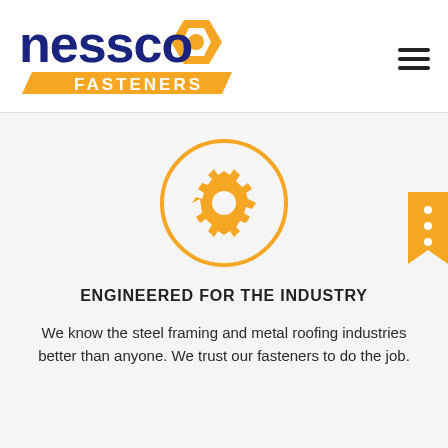[Figure (logo): Nessco Fasteners logo: bold dark blue 'nessco' text with an orange hexagon nut icon, and an orange parallelogram banner beneath reading 'FASTENERS' in white uppercase letters]
[Figure (illustration): Orange gear/cog icon inside a thin orange circle]
ENGINEERED FOR THE INDUSTRY
We know the steel framing and metal roofing industries better than anyone. We trust our fasteners to do the job.